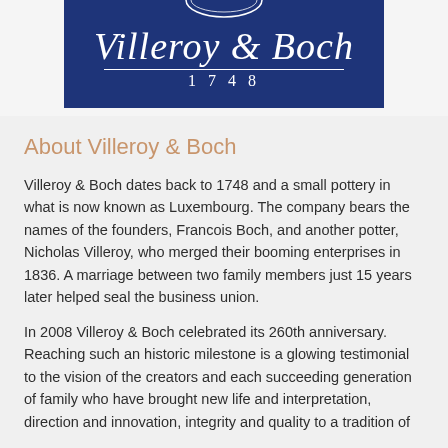[Figure (logo): Villeroy & Boch logo: dark navy blue rectangle with white oval emblem at top, large italic serif text 'Villeroy & Boch' in white with horizontal line below, and '1748' in white spaced letters at bottom]
About Villeroy & Boch
Villeroy & Boch dates back to 1748 and a small pottery in what is now known as Luxembourg. The company bears the names of the founders, Francois Boch, and another potter, Nicholas Villeroy, who merged their booming enterprises in 1836. A marriage between two family members just 15 years later helped seal the business union.
In 2008 Villeroy & Boch celebrated its 260th anniversary. Reaching such an historic milestone is a glowing testimonial to the vision of the creators and each succeeding generation of family who have brought new life and interpretation, direction and innovation, integrity and quality to a tradition of...